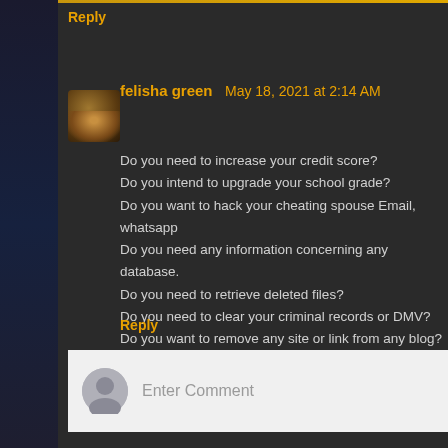Reply
felisha green  May 18, 2021 at 2:14 AM
Do you need to increase your credit score?
Do you intend to upgrade your school grade?
Do you want to hack your cheating spouse Email, whatsapp
Do you need any information concerning any database.
Do you need to retrieve deleted files?
Do you need to clear your criminal records or DMV?
Do you want to remove any site or link from any blog?
you should contact this hacker, he is reliable and good at th
contact : cybergoldenhacker at gmail dot com
Reply
Enter Comment